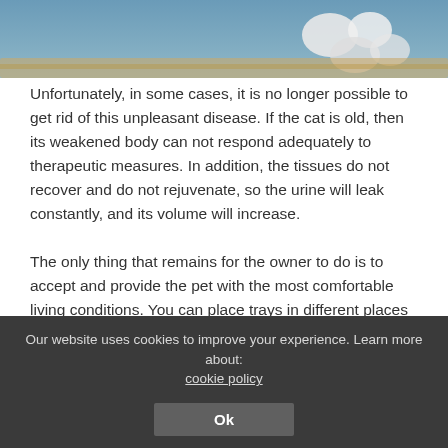[Figure (photo): Partial view of a cat, showing paws and body resting on a surface, with a blue background.]
Unfortunately, in some cases, it is no longer possible to get rid of this unpleasant disease. If the cat is old, then its weakened body can not respond adequately to therapeutic measures. In addition, the tissues do not recover and do not rejuvenate, so the urine will leak constantly, and its volume will increase.
The only thing that remains for the owner to do is to accept and provide the pet with the most comfortable living conditions. You can place trays in different places of the apartment or put a diaper on the cat.
Our website uses cookies to improve your experience. Learn more about: cookie policy
Ok